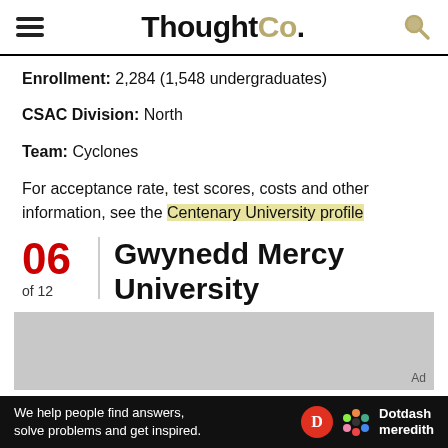ThoughtCo.
Enrollment: 2,284 (1,548 undergraduates)
CSAC Division: North
Team: Cyclones
For acceptance rate, test scores, costs and other information, see the Centenary University profile
06 of 12 Gwynedd Mercy University
[Figure (other): Advertisement placeholder gray box]
We help people find answers, solve problems and get inspired. Dotdash meredith